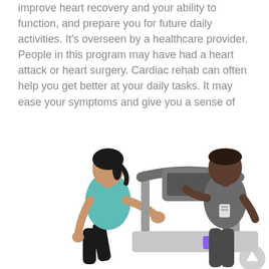improve heart recovery and your ability to function, and prepare you for future daily activities. It's overseen by a healthcare provider. People in this program may have had a heart attack or heart surgery. Cardiac rehab can often help you get better at your daily tasks. It may ease your symptoms and give you a sense of well-being.
[Figure (photo): A woman in a teal tank top exercising on a treadmill while a male healthcare provider in a gray shirt with a badge stands beside her and assists her. Purple dumbbells are visible on the treadmill.]